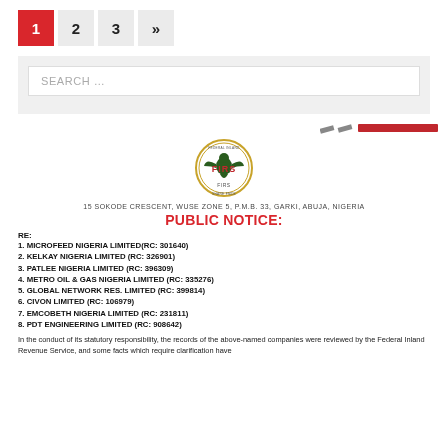1  2  3  »  (pagination)
SEARCH …
[Figure (logo): FIRS (Federal Inland Revenue Service) logo with eagle emblem and circular badge]
15 SOKODE CRESCENT, WUSE ZONE 5, P.M.B. 33, GARKI, ABUJA, NIGERIA
PUBLIC NOTICE:
RE:
1. MICROFEED NIGERIA LIMITED(RC: 301640)
2. KELKAY NIGERIA LIMITED (RC: 326901)
3. PATLEE NIGERIA LIMITED (RC: 396309)
4. METRO OIL & GAS NIGERIA LIMITED (RC: 335276)
5. GLOBAL NETWORK RES. LIMITED (RC: 399814)
6. CIVON LIMITED (RC: 106979)
7. EMCOBETH NIGERIA LIMITED (RC: 231811)
8. PDT ENGINEERING LIMITED (RC: 908642)
In the conduct of its statutory responsibility, the records of the above-named companies were reviewed by the Federal Inland Revenue Service, and some facts which require clarification have